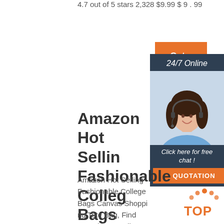4.7 out of 5 stars 2,328 $9.99 $ 9 . 99
Get Price
[Figure (infographic): 24/7 Online customer service chat box with woman wearing headset, Click here for free chat, QUOTATION button]
Amazon Hot Selling Fashionable College Bags Canvas ...
Amazon Hot Selling Fashionable College Bags Canvas Shopping Tote Bag, Find Complete Details about Amazon Hot Selling Fashionable College Bags Canvas Shopping Tote Bag,Jumbo Canvas Tote Bag Satchel Bag Men Black Canvas Military Zippered Canvas Tool Bag Canvas Fancy Tote Bag,Eco Reusable
[Figure (logo): TOP badge with orange dots arc above]